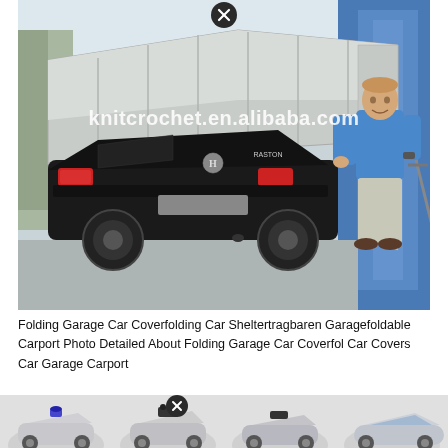[Figure (photo): A man in a blue shirt standing next to a black Honda sedan that is being covered or uncovered by a large gray folding garage/carport shelter. The shelter is open on one end. A watermark reads 'knitcrochet.en.alibaba.com'. There is also an X close button at the top center.]
Folding Garage Car Coverfolding Car Sheltertragbaren Garagefoldable Carport Photo Detailed About Folding Garage Car Coverfol Car Covers Car Garage Carport
[Figure (photo): A horizontal strip of four small product images showing different convertible/sports cars with open tops or roof systems, displayed at the bottom of the page. A second X close button appears over the second image.]